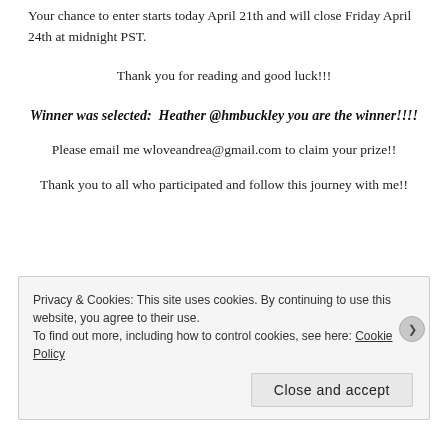Your chance to enter starts today April 21th and will close Friday April 24th at midnight PST.
Thank you for reading and good luck!!!
Winner was selected:  Heather @hmbuckley you are the winner!!!!
Please email me wloveandrea@gmail.com to claim your prize!!
Thank you to all who participated and follow this journey with me!!
Privacy & Cookies: This site uses cookies. By continuing to use this website, you agree to their use.
To find out more, including how to control cookies, see here: Cookie Policy
Close and accept